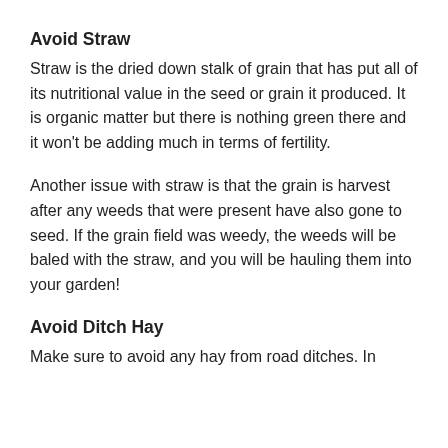Avoid Straw
Straw is the dried down stalk of grain that has put all of its nutritional value in the seed or grain it produced. It is organic matter but there is nothing green there and it won't be adding much in terms of fertility.
Another issue with straw is that the grain is harvest after any weeds that were present have also gone to seed. If the grain field was weedy, the weeds will be baled with the straw, and you will be hauling them into your garden!
Avoid Ditch Hay
Make sure to avoid any hay from road ditches. In